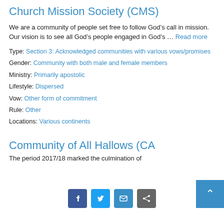Church Mission Society (CMS)
We are a community of people set free to follow God’s call in mission. Our vision is to see all God’s people engaged in God’s … Read more
Type: Section 3: Acknowledged communities with various vows/promises
Gender: Community with both male and female members
Ministry: Primarily apostolic
Lifestyle: Dispersed
Vow: Other form of commitment
Rule: Other
Locations: Various continents
Community of All Hallows (CA…
The period 2017/18 marked the culmination of
[Figure (other): Social sharing icons: Facebook, Twitter, Email, Share, and scroll-to-top button]